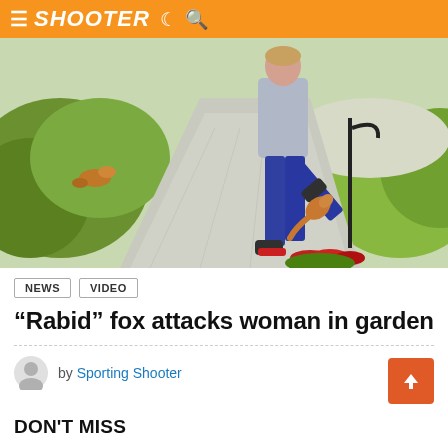SHOOTER
[Figure (photo): A woman in jeans and a grey shirt kicking at a fox on a garden path, with green bushes and red flowers visible. Security camera footage style image.]
NEWS  VIDEO
“Rabid” fox attacks woman in garden
by Sporting Shooter
DON'T MISS